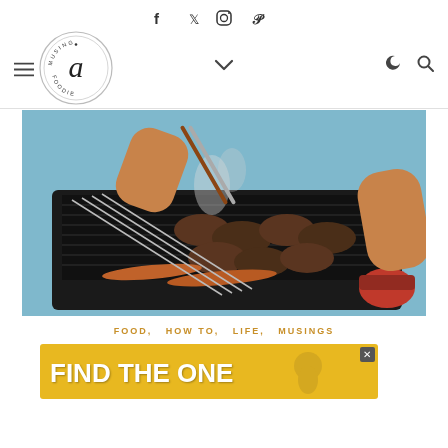Musing a Foodie — navigation header with social icons (Facebook, Twitter, Instagram, Pinterest), logo, hamburger menu, chevron, moon/dark mode and search icons
[Figure (photo): Person using metal tongs on a black outdoor grill with hamburger patties, hot dogs on skewers, with smoke rising. Another person holds food in the background. A container of sauce is visible on the right side.]
FOOD, HOW TO, LIFE, MUSINGS
[Figure (other): Advertisement banner reading FIND THE ONE with a dog image and text overlay]